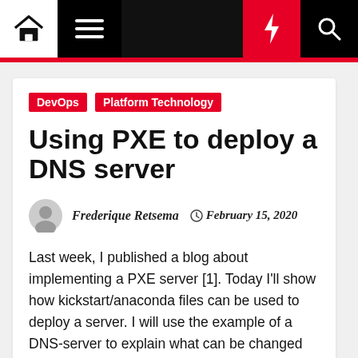Navigation bar with home, menu, lightning, and search icons
DevOps  Platform Technology
Using PXE to deploy a DNS server
Frederique Retsema  February 15, 2020
Last week, I published a blog about implementing a PXE server [1]. Today I'll show how kickstart/anaconda files can be used to deploy a server. I will use the example of a DNS-server to explain what can be changed where in kickstart files and what you can do when the kickstart file isn't enough for your purposes. The full kickstart file and